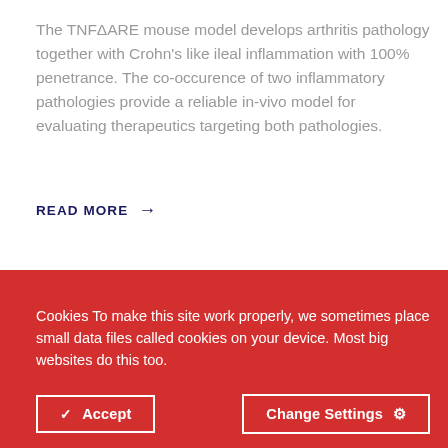The TNFΔARE mouse model develops arthritis pathology together with Crohn's like ileal inflammation with 100% penetrance. The co-occurence of two inflammatory pathologies provide a reliable in-vivo model for evaluating therapeutics targeting both pathologies.
READ MORE →
Cookies To make this site work properly, we sometimes place small data files called cookies on your device. Most big websites do this too.
✓ Accept
Change Settings ⚙